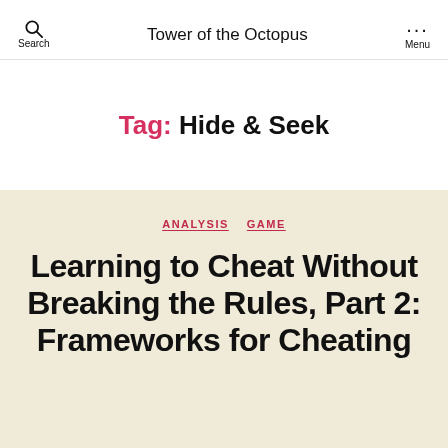Tower of the Octopus
Tag: Hide & Seek
ANALYSIS  GAME
Learning to Cheat Without Breaking the Rules, Part 2: Frameworks for Cheating